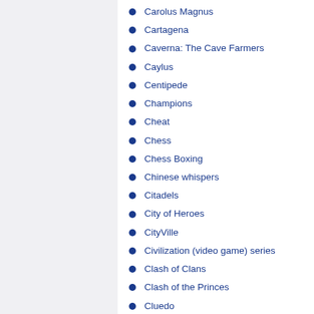Carolus Magnus
Cartagena
Caverna: The Cave Farmers
Caylus
Centipede
Champions
Cheat
Chess
Chess Boxing
Chinese whispers
Citadels
City of Heroes
CityVille
Civilization (video game) series
Clash of Clans
Clash of the Princes
Cluedo
Cogs
College of Wizardry